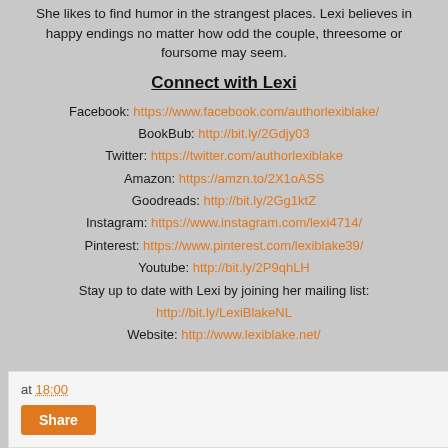She likes to find humor in the strangest places. Lexi believes in happy endings no matter how odd the couple, threesome or foursome may seem.
Connect with Lexi
Facebook: https://www.facebook.com/authorlexiblake/
BookBub: http://bit.ly/2Gdjy03
Twitter: https://twitter.com/authorlexiblake
Amazon: https://amzn.to/2X1oASS
Goodreads: http://bit.ly/2Gg1ktZ
Instagram: https://www.instagram.com/lexi4714/
Pinterest: https://www.pinterest.com/lexiblake39/
Youtube: http://bit.ly/2P9qhLH
Stay up to date with Lexi by joining her mailing list:
http://bit.ly/LexiBlakeNL
Website: http://www.lexiblake.net/
at 18:00
Share